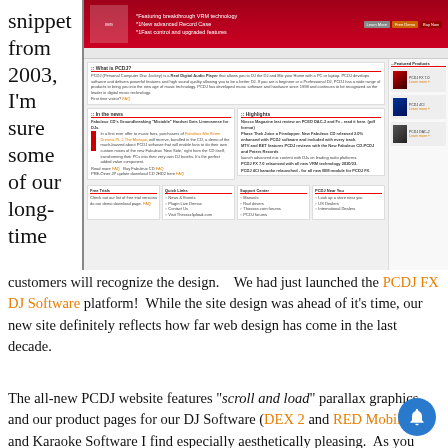snippet from 2003, I'm sure some of our long-time
[Figure (screenshot): Screenshot of the PCDJ website from 2003, showing a red header banner, navigation, featured products sidebar, news and highlights sections, and footer links area.]
customers will recognize the design.    We had just launched the PCDJ FX DJ Software platform!  While the site design was ahead of it's time, our new site definitely reflects how far web design has come in the last decade.
The all-new PCDJ website features “scroll and load” parallax graphics, and our product pages for our DJ Software (DEX 2 and RED Mobile 2) and Karaoke Software I find especially aesthetically pleasing.  As you